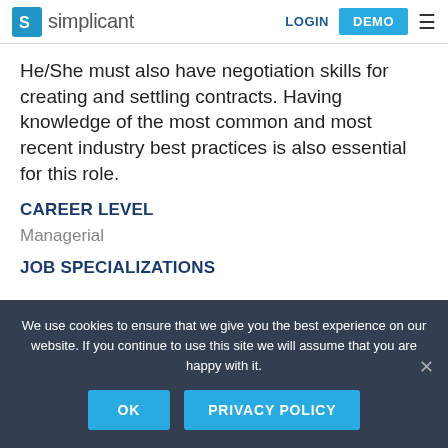simplicant | LOGIN | DEMO
He/She must also have negotiation skills for creating and settling contracts. Having knowledge of the most common and most recent industry best practices is also essential for this role.
CAREER LEVEL
Managerial
JOB SPECIALIZATIONS
We use cookies to ensure that we give you the best experience on our website. If you continue to use this site we will assume that you are happy with it.